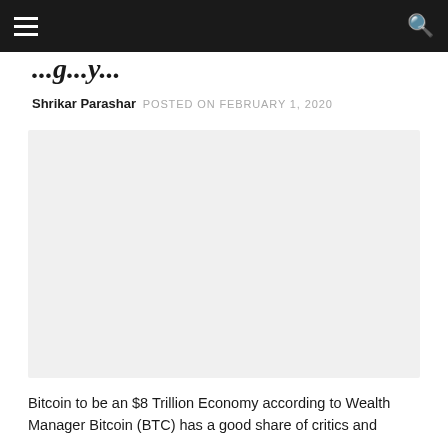...gy...
Shrikar Parashar  POSTED ON FEBRUARY 1, 2020
[Figure (photo): Light gray placeholder image for article about Bitcoin $8 Trillion Economy]
Bitcoin to be an $8 Trillion Economy according to Wealth Manager Bitcoin (BTC) has a good share of critics and